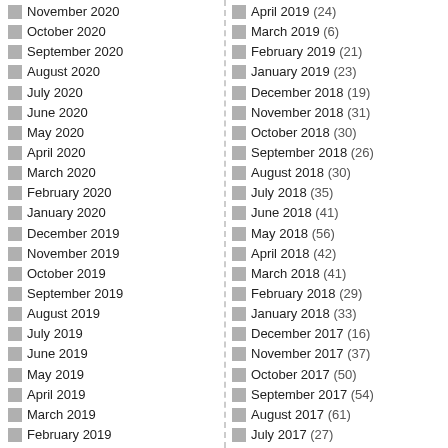November 2020
October 2020
September 2020
August 2020
July 2020
June 2020
May 2020
April 2020
March 2020
February 2020
January 2020
December 2019
November 2019
October 2019
September 2019
August 2019
July 2019
June 2019
May 2019
April 2019
March 2019
February 2019
January 2019
December 2018
November 2018
October 2018
April 2019 (24)
March 2019 (6)
February 2019 (21)
January 2019 (23)
December 2018 (19)
November 2018 (31)
October 2018 (30)
September 2018 (26)
August 2018 (30)
July 2018 (35)
June 2018 (41)
May 2018 (56)
April 2018 (42)
March 2018 (41)
February 2018 (29)
January 2018 (33)
December 2017 (16)
November 2017 (37)
October 2017 (50)
September 2017 (54)
August 2017 (61)
July 2017 (27)
June 2017 (43)
May 2017 (78)
April 2017 (33)
March 2017 (51)